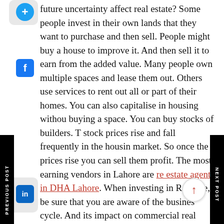future uncertainty affect real estate? Some people invest in their own lands that they want to purchase and then sell. People might buy a house to improve it. And then sell it to earn from the added value. Many people own multiple spaces and lease them out. Others use services to rent out all or part of their homes. You can also capitalise in housing without buying a space. You can buy stocks of builders. The stock prices rise and fall frequently in the housing market. So once the prices rise you can sell them at profit. The most earning vendors in Lahore are real estate agents in DHA Lahore. When investing in Real Estate, be sure that you are aware of the business cycle. And its impact on commercial real estate. During a boom, commercial real estate hits the peak after residential real estate. During a collapse, commercial real estate drops after residential real estate.